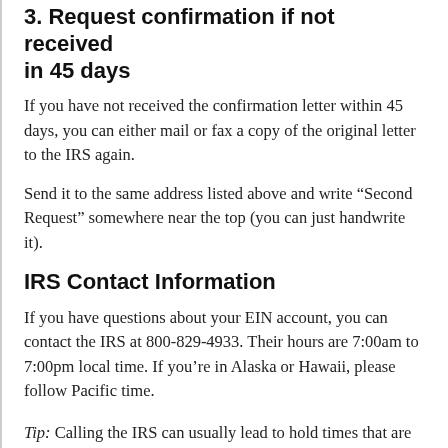3. Request confirmation if not received in 45 days
If you have not received the confirmation letter within 45 days, you can either mail or fax a copy of the original letter to the IRS again.
Send it to the same address listed above and write “Second Request” somewhere near the top (you can just handwrite it).
IRS Contact Information
If you have questions about your EIN account, you can contact the IRS at 800-829-4933. Their hours are 7:00am to 7:00pm local time. If you’re in Alaska or Hawaii, please follow Pacific time.
Tip: Calling the IRS can usually lead to hold times that are 15 to 30 minutes. We recommend calling as early as possible for fastest service.